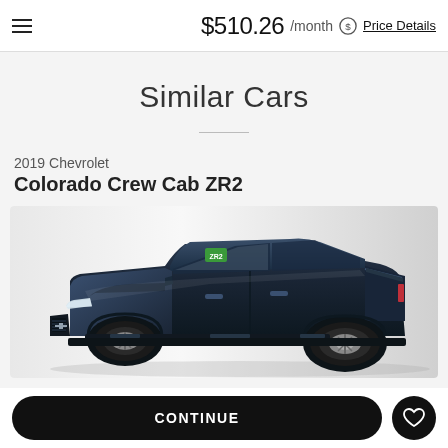$510.26 /month  Price Details
Similar Cars
2019 Chevrolet
Colorado Crew Cab ZR2
[Figure (photo): Photo of a dark navy blue 2019 Chevrolet Colorado Crew Cab ZR2 pickup truck, side profile view]
CONTINUE